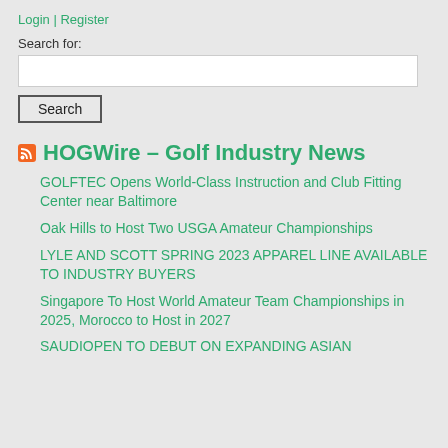Login | Register
Search for:
HOGWire – Golf Industry News
GOLFTEC Opens World-Class Instruction and Club Fitting Center near Baltimore
Oak Hills to Host Two USGA Amateur Championships
LYLE AND SCOTT SPRING 2023 APPAREL LINE AVAILABLE TO INDUSTRY BUYERS
Singapore To Host World Amateur Team Championships in 2025, Morocco to Host in 2027
SAUDIOPEN TO DEBUT ON EXPANDING ASIAN